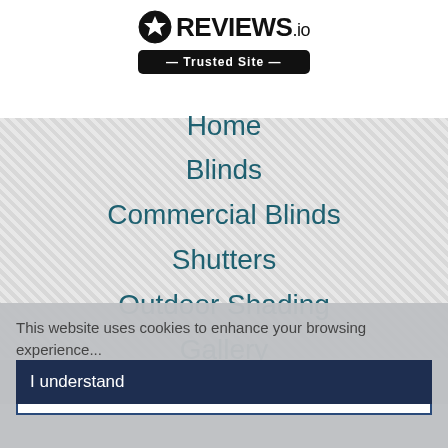[Figure (logo): REVIEWS.io logo with star icon and Trusted Site badge]
Home
Blinds
Commercial Blinds
Shutters
Outdoor Shading
Gallery
This website uses cookies to enhance your browsing experience...
More information
I understand